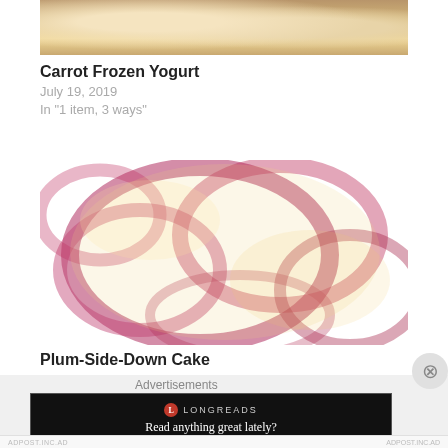[Figure (photo): Close-up photo of Carrot Frozen Yogurt in a teal bowl, showing pale yellowish frozen yogurt pieces]
Carrot Frozen Yogurt
July 19, 2019
In "1 item, 3 ways"
[Figure (photo): Close-up photo of Plum-Side-Down Cake showing caramelized plum slices arranged on top of the golden cake]
Plum-Side-Down Cake
Advertisements
[Figure (other): Longreads advertisement with dark background reading 'Read anything great lately?']